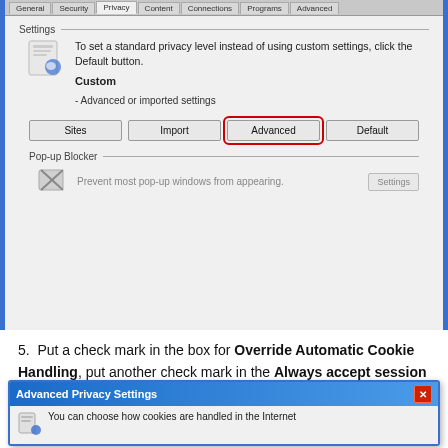[Figure (screenshot): Internet Explorer Internet Options dialog showing Privacy tab with Settings section (Custom - Advanced or imported settings), buttons: Sites, Import, Advanced (highlighted with red border), Default, and Pop-up Blocker section]
5. Put a check mark in the box for Override Automatic Cookie Handling, put another check mark in the Always accept session cookies box
[Figure (screenshot): Advanced Privacy Settings dialog box with blue title bar and X close button, showing text: You can choose how cookies are handled in the Internet]